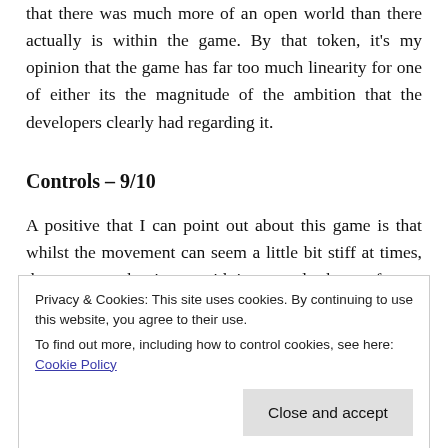that there was much more of an open world than there actually is within the game. By that token, it's my opinion that the game has far too much linearity for one of either its the magnitude of the ambition that the developers clearly had regarding it.
Controls – 9/10
A positive that I can point out about this game is that whilst the movement can seem a little bit stiff at times, there are no other issues with its control schemes for me to have to
Privacy & Cookies: This site uses cookies. By continuing to use this website, you agree to their use. To find out more, including how to control cookies, see here: Cookie Policy
Close and accept
the many excellent 3D platformers, which were being